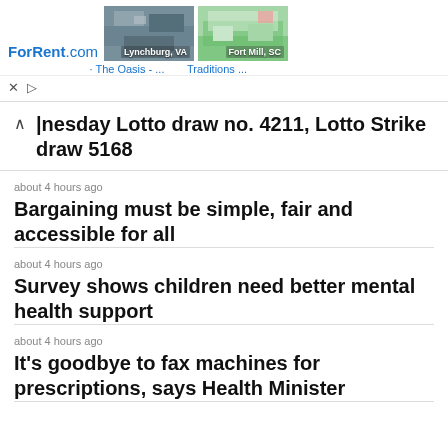[Figure (screenshot): ForRent.com advertisement banner showing two apartment photos for Lynchburg VA (The Oasis) and Fort Mill SC (Traditions), with close and play controls]
∧  |nesday Lotto draw no. 4211, Lotto Strike draw 5168
about 4 hours ago
Bargaining must be simple, fair and accessible for all
about 4 hours ago
Survey shows children need better mental health support
about 4 hours ago
It's goodbye to fax machines for prescriptions, says Health Minister